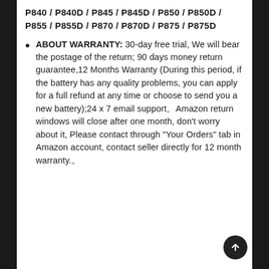P840 / P840D / P845 / P845D / P850 / P850D / P855 / P855D / P870 / P870D / P875 / P875D
ABOUT WARRANTY: 30-day free trial, We will bear the postage of the return; 90 days money return guarantee,12 Months Warranty (During this period, if the battery has any quality problems, you can apply for a full refund at any time or choose to send you a new battery);24 x 7 email support。Amazon return windows will close after one month, don’t worry about it, Please contact through "Your Orders" tab in Amazon account, contact seller directly for 12 month warranty.。